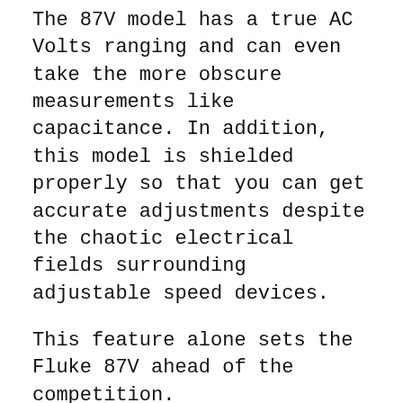The 87V model has a true AC Volts ranging and can even take the more obscure measurements like capacitance. In addition, this model is shielded properly so that you can get accurate adjustments despite the chaotic electrical fields surrounding adjustable speed devices.
This feature alone sets the Fluke 87V ahead of the competition.
The continuity tester in this meter is loud and fast, which is great for troubleshooting in a noisy industrial environment.
This model comes standard with the ability to make ambient temperature measurement, and you'll be glad to find it also comes with a